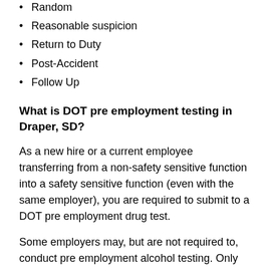Random
Reasonable suspicion
Return to Duty
Post-Accident
Follow Up
What is DOT pre employment testing in Draper, SD?
As a new hire or a current employee transferring from a non-safety sensitive function into a safety sensitive function (even with the same employer), you are required to submit to a DOT pre employment drug test.
Some employers may, but are not required to, conduct pre employment alcohol testing. Only after your employer receives a negative pre employment DOT drug test result (and negative alcohol test result